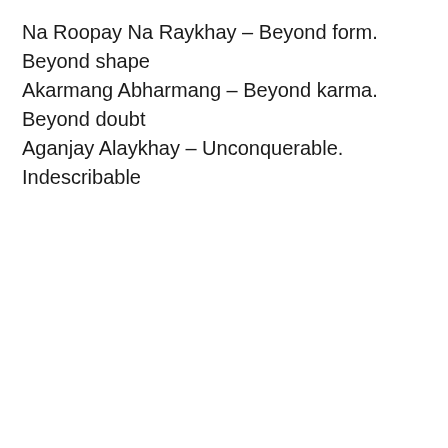Na Roopay Na Raykhay – Beyond form. Beyond shape
Akarmang Abharmang – Beyond karma. Beyond doubt
Aganjay Alaykhay – Unconquerable. Indescribable
[Figure (other): Gray rectangular placeholder box with heart (like) button and share button overlaid on the right side]